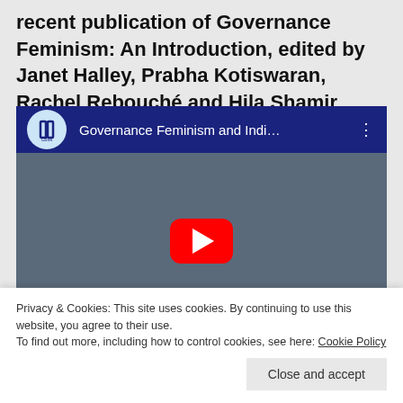recent publication of Governance Feminism: An Introduction, edited by Janet Halley, Prabha Kotiswaran, Rachel Rebouché and Hila Shamir
[Figure (screenshot): YouTube video embed showing a lecture titled 'Governance Feminism and Indi...' with a play button overlay. A person is seated behind a monitor in what appears to be a classroom or seminar room with a dark blue board in the background.]
Privacy & Cookies: This site uses cookies. By continuing to use this website, you agree to their use.
To find out more, including how to control cookies, see here: Cookie Policy